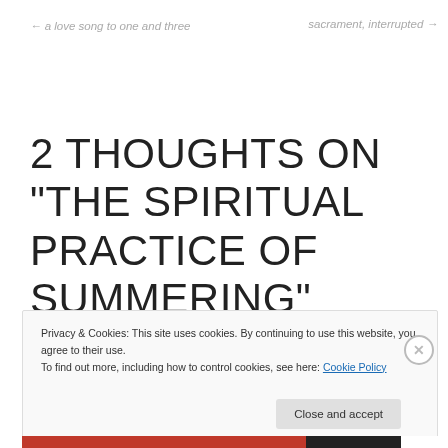← a love song to one and three
sacrament, interrupted →
2 THOUGHTS ON “THE SPIRITUAL PRACTICE OF SUMMERING”
Privacy & Cookies: This site uses cookies. By continuing to use this website, you agree to their use.
To find out more, including how to control cookies, see here: Cookie Policy
Close and accept